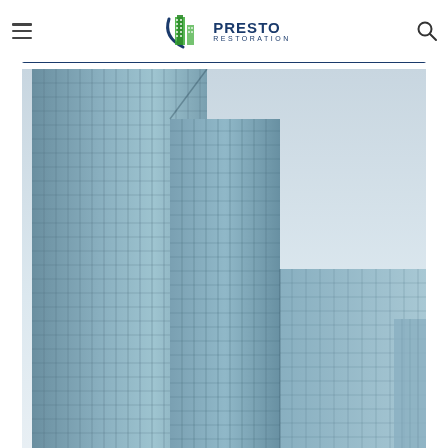[Figure (logo): Presto Restoration logo with green building icon and dark blue text]
[Figure (photo): Looking up at modern glass curtain-wall skyscrapers against a light grey sky]